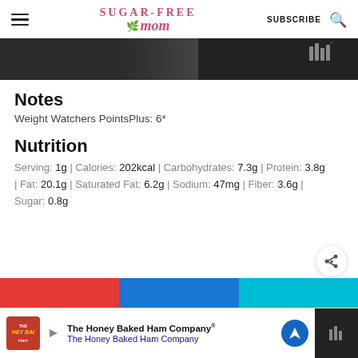Sugar-Free Mom — SUBSCRIBE
[Figure (photo): Dark hero image at top of content, partially visible]
Notes
Weight Watchers PointsPlus: 6*
Nutrition
Serving: 1g | Calories: 202kcal | Carbohydrates: 7.3g | Protein: 3.8g | Fat: 20.1g | Saturated Fat: 6.2g | Sodium: 47mg | Fiber: 3.6g | Sugar: 0.8g
[Figure (screenshot): The Honey Baked Ham Company advertisement banner at bottom]
The Honey Baked Ham Company® — The Honey Baked Ham Company